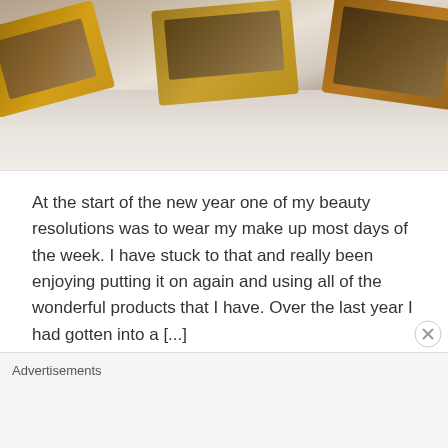[Figure (photo): Overhead photo of makeup eyeshadow palettes with gold/bronze tones arranged on a marble surface]
At the start of the new year one of my beauty resolutions was to wear my make up most days of the week. I have stuck to that and really been enjoying putting it on again and using all of the wonderful products that I have. Over the last year I had gotten into a [...]
BEAUTY, MAKEUP, NATASHA DENONA, REVIEWS, SWATCHES
Advertisements